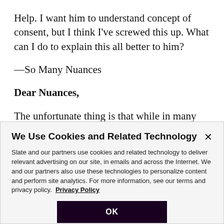Help. I want him to understand concept of consent, but I think I've screwed this up. What can I do to explain this all better to him?
—So Many Nuances
Dear Nuances,
The unfortunate thing is that while in many ways
We Use Cookies and Related Technology
Slate and our partners use cookies and related technology to deliver relevant advertising on our site, in emails and across the Internet. We and our partners also use these technologies to personalize content and perform site analytics. For more information, see our terms and privacy policy.  Privacy Policy
OK